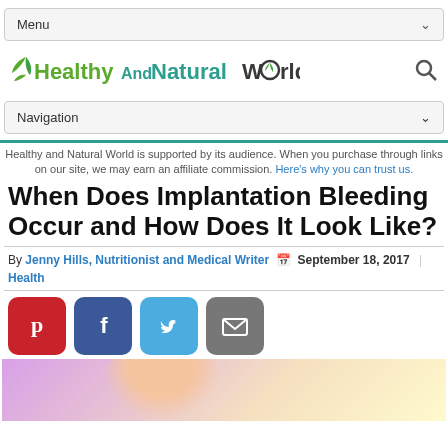Menu
[Figure (logo): Healthy And Natural World logo with green leaf icon and search icon]
Navigation
Healthy and Natural World is supported by its audience. When you purchase through links on our site, we may earn an affiliate commission. Here's why you can trust us.
When Does Implantation Bleeding Occur and How Does It Look Like?
By Jenny Hills, Nutritionist and Medical Writer  September 18, 2017 | Health
[Figure (infographic): Social sharing buttons: Pinterest, Facebook, Twitter, Email]
[Figure (photo): Partial photo of a woman, colorful pastel background]